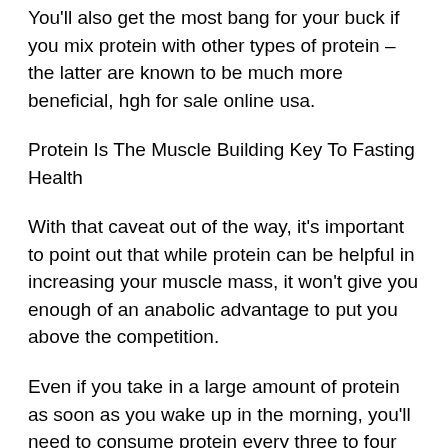You'll also get the most bang for your buck if you mix protein with other types of protein – the latter are known to be much more beneficial, hgh for sale online usa.
Protein Is The Muscle Building Key To Fasting Health
With that caveat out of the way, it's important to point out that while protein can be helpful in increasing your muscle mass, it won't give you enough of an anabolic advantage to put you above the competition.
Even if you take in a large amount of protein as soon as you wake up in the morning, you'll need to consume protein every three to four hours for this benefit to really kick in, hgh for sale in turkey.
That's because we know protein's impact